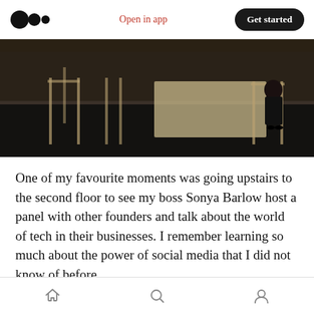Open in app  Get started
[Figure (photo): A dark stage or elevated platform with wooden chairs and a light-colored rug/mat, with a person in dark clothing visible at the right side.]
One of my favourite moments was going upstairs to the second floor to see my boss Sonya Barlow host a panel with other founders and talk about the world of tech in their businesses. I remember learning so much about the power of social media that I did not know of before.
I just knew I had to document all the brilliant,
Home  Search  Profile